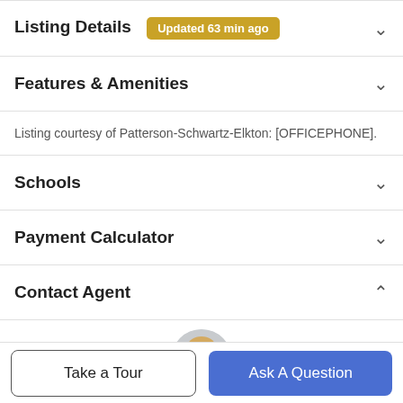Listing Details  Updated 63 min ago
Features & Amenities
Listing courtesy of Patterson-Schwartz-Elkton: [OFFICEPHONE].
Schools
Payment Calculator
Contact Agent
[Figure (photo): Circular headshot photo of a blond female real estate agent]
Take a Tour
Ask A Question